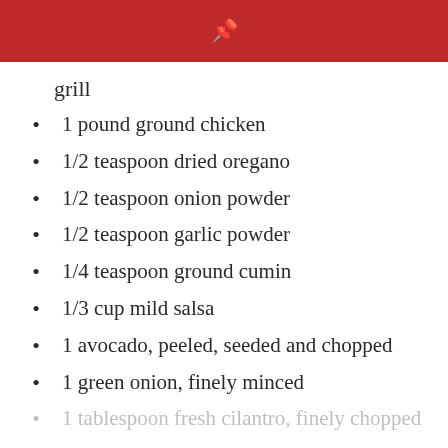Pinterest icon
grill
1 pound ground chicken
1/2 teaspoon dried oregano
1/2 teaspoon onion powder
1/2 teaspoon garlic powder
1/4 teaspoon ground cumin
1/3 cup mild salsa
1 avocado, peeled, seeded and chopped
1 green onion, finely minced
1 tablespoon fresh cilantro, finely chopped